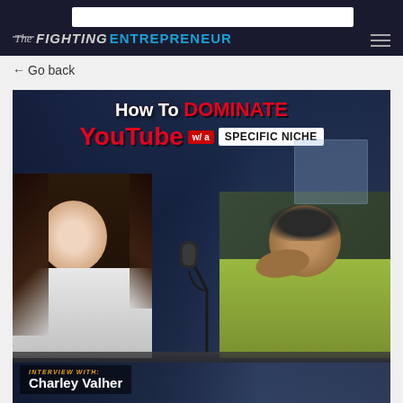The Fighting Entrepreneur
← Go back
[Figure (photo): Thumbnail image for a YouTube video episode titled 'How To DOMINATE YouTube w/ a SPECIFIC NICHE', featuring an interview with Charley Valher. Shows a woman with dark hair on the left and a man in a yellow shirt sitting at a desk with a microphone on the right. The Fighting Entrepreneur podcast branding.]